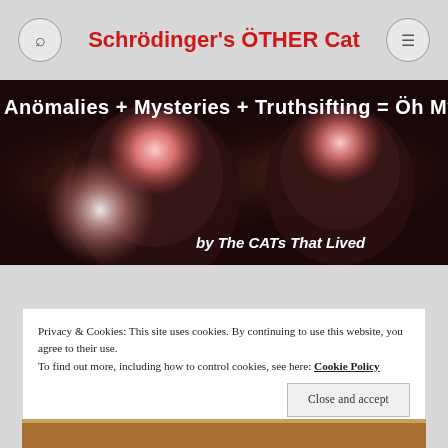Schrödinger's ÖTHER Cat
[Figure (photo): Dark banner image showing two glowing brain astronaut figures against a dark background, with white bold text overlay reading 'Anömalies + Mysteries + Truthsifting = Öh My' at top and italic text 'by The CATs That Lived' at bottom right]
Privacy & Cookies: This site uses cookies. By continuing to use this website, you agree to their use.
To find out more, including how to control cookies, see here: Cookie Policy
Close and accept
[Figure (photo): Partial bottom strip showing a cat photo, cropped at page edge]